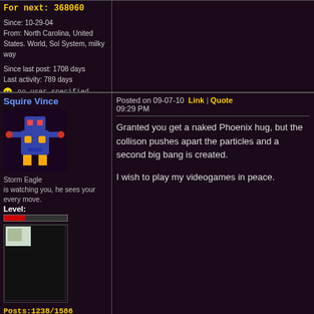For next: 368060
Since: 10-29-04
From: North Carolina, United States. World, Sol System, milky way
Since last post: 1708 days
Last activity: 789 days
no user specified
Squire Vince
Storm Eagle is watching you, he sees your every move.
Level:
Posts:1238/1586
EXP:4245903
For next: 136323
Since: 04-17-10
From: Victorian London.
Since last post: 4134 days
Last activity: 4108 days
no user specified
Posted on 09-07-10 09:29 PM   Link | Quote
Granted you get a naked Phoenix hug, but the collison pushes apart the particles and a second big bang is created.
I wish to play my videogames in peace.
Phoenixocracy
Posted on 09-07-10 10:11   Link | Quote